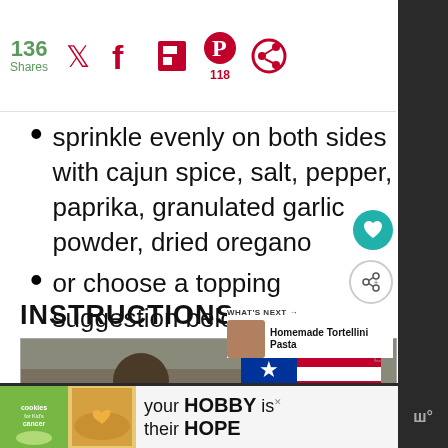136 Shares | Social share icons including Twitter, Facebook, Flipboard, Pinterest (118), and another icon
sprinkle evenly on both sides with cajun spice, salt, pepper, paprika, granulated garlic powder, dried oregano
or choose a topping suggestion below
INSTRUCTIONS
[Figure (photo): Advertisement image showing military personnel wearing masks and a 'Thank you!' graphic with American flag pencil motif]
[Figure (infographic): Bottom banner ad: Cookies for Kid's Cancer — 'your HOBBY is their HOPE']
WHAT'S NEXT → Homemade Tortellini Pasta